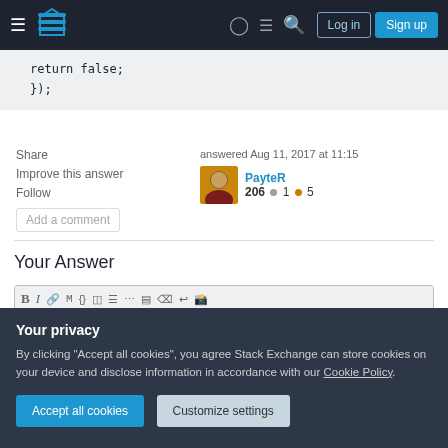Stack Overflow navigation bar with Log in and Sign up buttons
return false;
});
Share
Improve this answer
Follow
answered Aug 11, 2017 at 11:15
PayteR
206 ● 1 ● 5
Add a comment
Your Answer
[Figure (screenshot): Answer editor toolbar with formatting icons]
Your privacy
By clicking "Accept all cookies", you agree Stack Exchange can store cookies on your device and disclose information in accordance with our Cookie Policy.
Accept all cookies
Customize settings